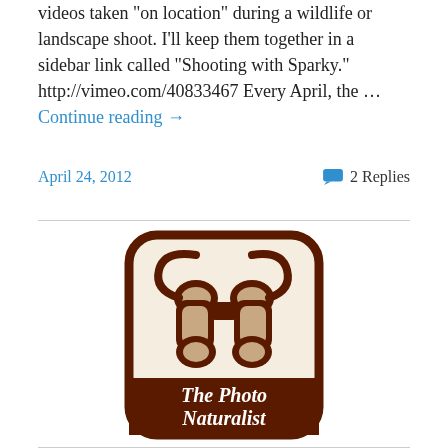videos taken "on location" during a wildlife or landscape shoot. I'll keep them together in a sidebar link called "Shooting with Sparky." http://vimeo.com/40833467 Every April, the … Continue reading →
April 24, 2012
2 Replies
[Figure (logo): The Photo Naturalist logo — a brown rounded-square badge with an illustration of binoculars and the text 'The Photo Naturalist' in white italic lettering on a dark brown background.]